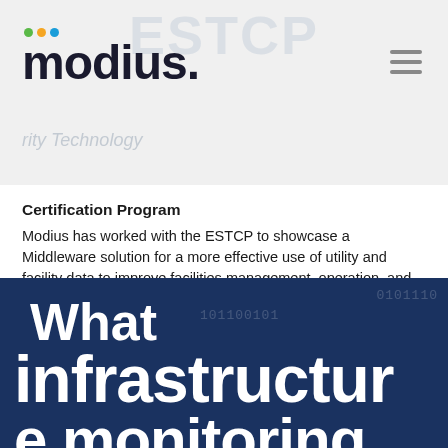[Figure (logo): Modius logo with colored dots (green, orange, blue) above the wordmark 'modius' in dark bold text, with tagline text visible]
Certification Program
Modius has worked with the ESTCP to showcase a Middleware solution for a more effective use of utility and facility data to improve facilities management, operation, and maintenance.
Learn more →
What infrastructure monitoring